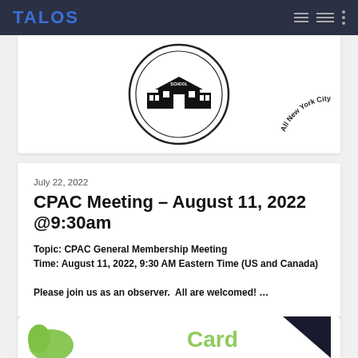TALOS
[Figure (logo): Circular school stamp logo with school building icon in center, text reading 'All New York City Public' around the border (displayed upside down/mirrored)]
July 22, 2022
CPAC Meeting – August 11, 2022 @9:30am
Topic: CPAC General Membership Meeting
Time: August 11, 2022, 9:30 AM Eastern Time (US and Canada)

Please join us as an observer.  All are welcomed! …
[Figure (photo): Partial view of another article card at the bottom showing green graphic elements]